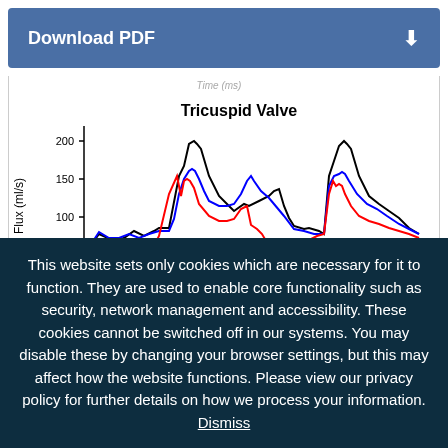[Figure (screenshot): Download PDF button with blue background and download arrow icon]
[Figure (continuous-plot): Tricuspid Valve flux vs time line chart showing three overlapping waveforms (black, blue, red) with peaks around 200 ml/s and secondary peaks around 100 ml/s. Y-axis shows Flux (ml/s) from 50 to 200. Title: Tricuspid Valve.]
This website sets only cookies which are necessary for it to function. They are used to enable core functionality such as security, network management and accessibility. These cookies cannot be switched off in our systems. You may disable these by changing your browser settings, but this may affect how the website functions. Please view our privacy policy for further details on how we process your information. Dismiss